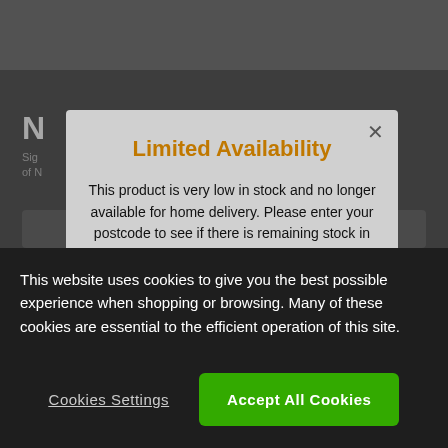[Figure (screenshot): Background website with dark theme, partial title 'N', subtitle text, input fields and orange buttons partially visible behind modal overlay]
Limited Availability
This product is very low in stock and no longer available for home delivery. Please enter your postcode to see if there is remaining stock in any of your local stores.
For alternative options, please take a look at the
This website uses cookies to give you the best possible experience when shopping or browsing. Many of these cookies are essential to the efficient operation of this site.
Cookies Settings
Accept All Cookies